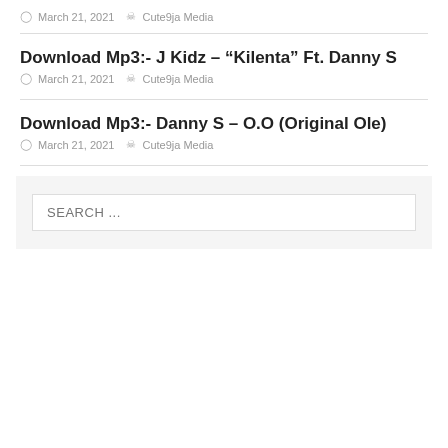March 21, 2021  Cute9ja Media
Download Mp3:- J Kidz – “Kilenta” Ft. Danny S
March 21, 2021  Cute9ja Media
Download Mp3:- Danny S – O.O (Original Ole)
March 21, 2021  Cute9ja Media
SEARCH ...